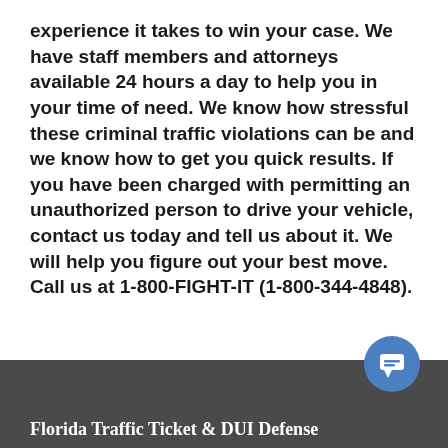experience it takes to win your case. We have staff members and attorneys available 24 hours a day to help you in your time of need. We know how stressful these criminal traffic violations can be and we know how to get you quick results. If you have been charged with permitting an unauthorized person to drive your vehicle, contact us today and tell us about it. We will help you figure out your best move. Call us at 1-800-FIGHT-IT (1-800-344-4848).
Florida Traffic Ticket & DUI Defense